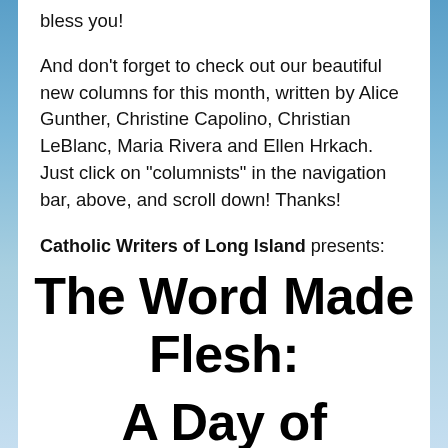bless you!
And don't forget to check out our beautiful new columns for this month, written by Alice Gunther, Christine Capolino, Christian LeBlanc, Maria Rivera and Ellen Hrkach. Just click on "columnists" in the navigation bar, above, and scroll down! Thanks!
Catholic Writers of Long Island presents:
The Word Made Flesh:
A Day of